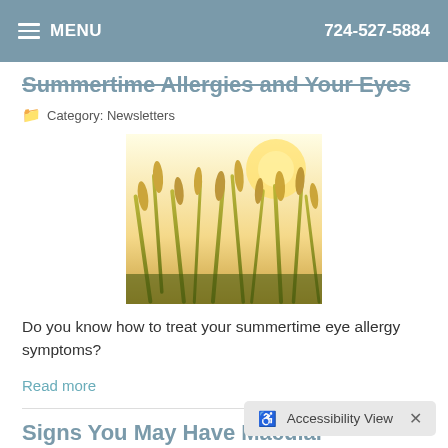MENU   724-527-5884
Summertime Allergies and Your Eyes
Category: Newsletters
[Figure (photo): Close-up photo of wheat/grass stalks backlit by warm golden sunlight]
Do you know how to treat your summertime eye allergy symptoms?
Read more
Signs You May Have Macular Degeneration
Accessibility View  ×